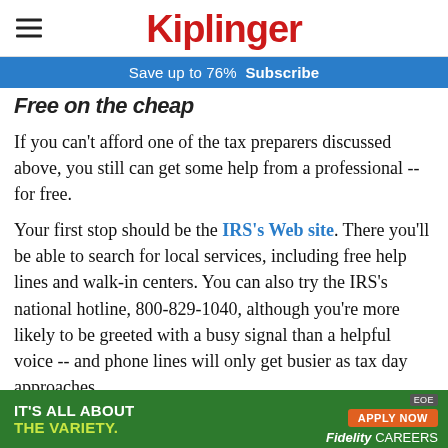Kiplinger
Save up to 76%  Subscribe
Free on the cheap
If you can't afford one of the tax preparers discussed above, you still can get some help from a professional -- for free.
Your first stop should be the IRS's Web site. There you'll be able to search for local services, including free help lines and walk-in centers. You can also try the IRS's national hotline, 800-829-1040, although you're more likely to be greeted with a busy signal than a helpful voice -- and phone lines will only get busier as tax day approaches.
[Figure (illustration): Fidelity Careers advertisement banner: green background with white text 'IT'S ALL ABOUT THE VARIETY.' and orange 'APPLY NOW' button and 'Fidelity CAREERS' logo with EOE badge]